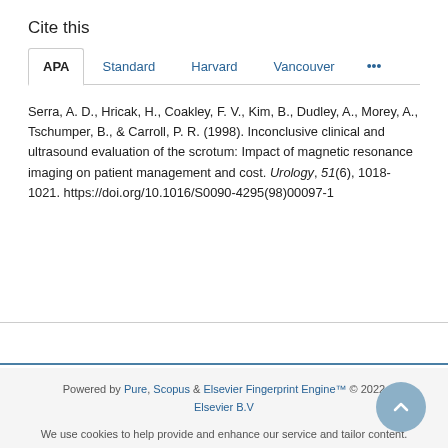Cite this
Serra, A. D., Hricak, H., Coakley, F. V., Kim, B., Dudley, A., Morey, A., Tschumper, B., & Carroll, P. R. (1998). Inconclusive clinical and ultrasound evaluation of the scrotum: Impact of magnetic resonance imaging on patient management and cost. Urology, 51(6), 1018-1021. https://doi.org/10.1016/S0090-4295(98)00097-1
Powered by Pure, Scopus & Elsevier Fingerprint Engine™ © 2022 Elsevier B.V
We use cookies to help provide and enhance our service and tailor content. By continuing you agree to the use of cookies